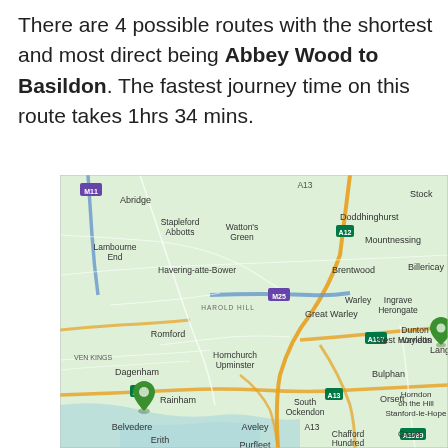There are 4 possible routes with the shortest and most direct being Abbey Wood to Basildon. The fastest journey time on this route takes 1hrs 34 mins.
[Figure (map): Google Maps-style road map showing the area from Abbey Wood (marked with green pin, lower left) to Basildon (marked with green pin, right side), including locations such as Abridge, Romford, Dagenham, Rainham, Hornchurch, Upminster, Brentwood, Billericay, Langdon Hills, West Horndon, South Ockendon, Chafford Hundred, Grays, Purfleet, Aveley, Orsett, Stanford-le-Hope, Horndon on the Hill, Dunton Wayletts, and roads including M11, M25, A12, A127, A13, A1089.]